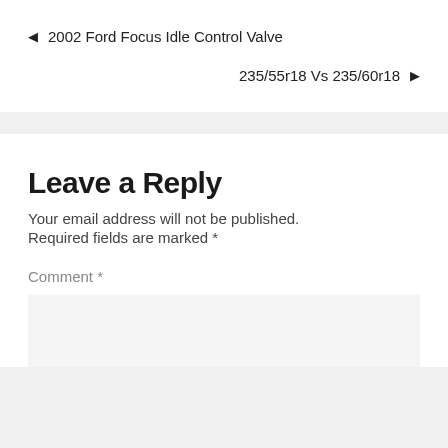◄ 2002 Ford Focus Idle Control Valve
235/55r18 Vs 235/60r18 ►
Leave a Reply
Your email address will not be published.
Required fields are marked *
Comment *